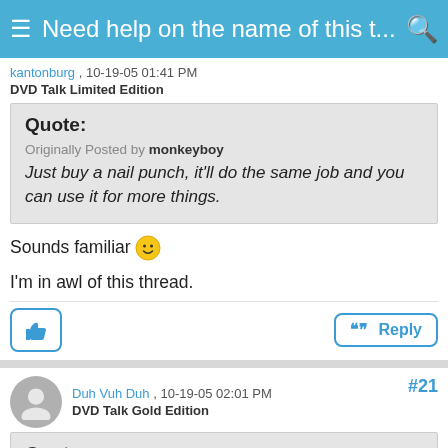Need help on the name of this t...
kantonburg , 10-19-05 01:41 PM
DVD Talk Limited Edition
Quote:
Originally Posted by monkeyboy
Just buy a nail punch, it'll do the same job and you can use it for more things.
Sounds familiar 😄
I'm in awl of this thread.
Duh Vuh Duh , 10-19-05 02:01 PM
DVD Talk Gold Edition
Quote: